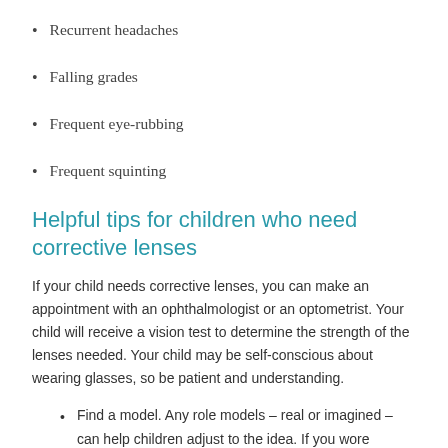Recurrent headaches
Falling grades
Frequent eye-rubbing
Frequent squinting
Helpful tips for children who need corrective lenses
If your child needs corrective lenses, you can make an appointment with an ophthalmologist or an optometrist. Your child will receive a vision test to determine the strength of the lenses needed. Your child may be self-conscious about wearing glasses, so be patient and understanding.
Find a model. Any role models – real or imagined – can help children adjust to the idea. If you wore glasses as a youngster, get out the old pictures and show him. Television characters or characters from literature (such as Harry Potter) can also help